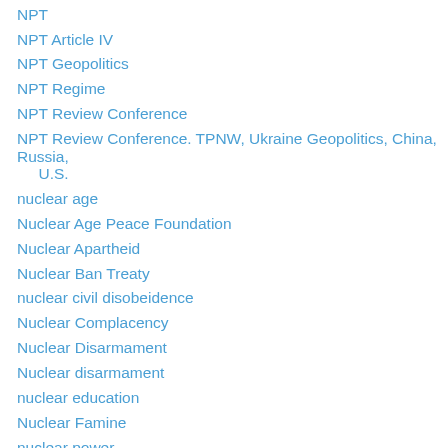NPT
NPT Article IV
NPT Geopolitics
NPT Regime
NPT Review Conference
NPT Review Conference. TPNW, Ukraine Geopolitics, China, Russia, U.S.
nuclear age
Nuclear Age Peace Foundation
Nuclear Apartheid
Nuclear Ban Treaty
nuclear civil disobeidence
Nuclear Complacency
Nuclear Disarmament
Nuclear disarmament
nuclear education
Nuclear Famine
nuclear power
nuclear securitization
nuclear war